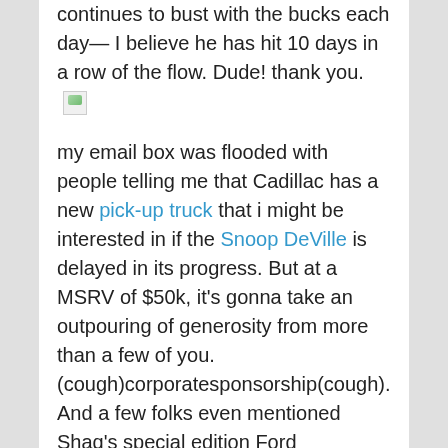continues to bust with the bucks each day— I believe he has hit 10 days in a row of the flow. Dude! thank you. [image]
my email box was flooded with people telling me that Cadillac has a new pick-up truck that i might be interested in if the Snoop DeVille is delayed in its progress. But at a MSRV of $50k, it's gonna take an outpouring of generosity from more than a few of you. (cough)corporatesponsorship(cough). And a few folks even mentioned Shaq's special edition Ford Expedition, the SST, but we'll cross that bridge when we cross that bridge, as good ole #34 might say.
Speaking of which, happy 30th birthday, Shaq, you've been my favorite Laker for quite